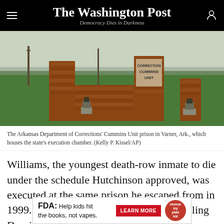The Washington Post — Democracy Dies in Darkness
[Figure (photo): Brick entrance sign for the Arkansas Department of Corrections Cummins Unit prison, set on green grass with utility poles and fields in background.]
The Arkansas Department of Corrections' Cummins Unit prison in Varner, Ark., which houses the state's execution chamber. (Kelly P. Kissel/AP)
Williams, the youngest death-row inmate to die under the schedule Hutchinson approved, was executed at the same prison he escaped from in 1999. While serving a life sentence for killing Dominique Herd, an 18-year-
[Figure (infographic): FDA advertisement: 'FDA: Help kids hit the books, not vapes.' with a red LEARN MORE button and a circular logo.]